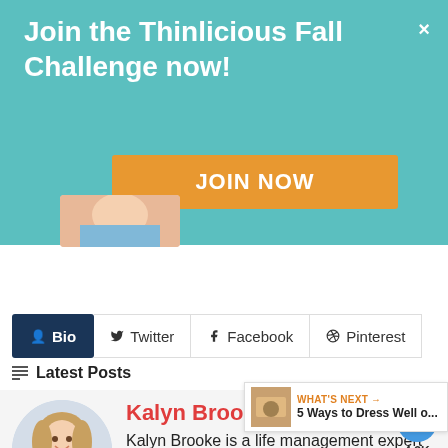Join the Thinlicious Fall Challenge now!
[Figure (screenshot): Orange JOIN NOW button on teal background with a small partial image at bottom left]
Bio  Twitter  Facebook  Pinterest
Latest Posts
[Figure (photo): Circular portrait photo of Kalyn Brooke, a woman with blonde hair smiling, wearing a blue top]
Kalyn Brooke
Kalyn Brooke is a life management expert for busy women who create a simpler and more organized life. Through her
[Figure (screenshot): What's Next panel with small thumbnail image and text '5 Ways to Dress Well o...']